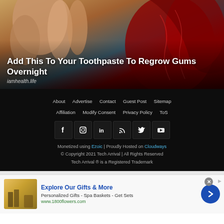[Figure (illustration): Illustration showing dental/gum anatomy with hand and cross-section of gum tissue in warm and red tones]
Add This To Your Toothpaste To Regrow Gums Overnight
iamhealth.life
About  Advertise  Contact  Guest Post  Sitemap  Affiliation  Modify Consent  Privacy Policy  ToS
[Figure (infographic): Social media icons row: Facebook, Instagram, LinkedIn, RSS, Twitter, YouTube]
Monetized using Ezoic | Proudly Hosted on Cloudways
© Copyright 2021 Tech Arrival | All Rights Reserved
Tech Arrival ® is a Registered Trademark
[Figure (screenshot): Advertisement banner for 1800flowers.com - Explore Our Gifts & More, Personalized Gifts - Spa Baskets - Get Sets]